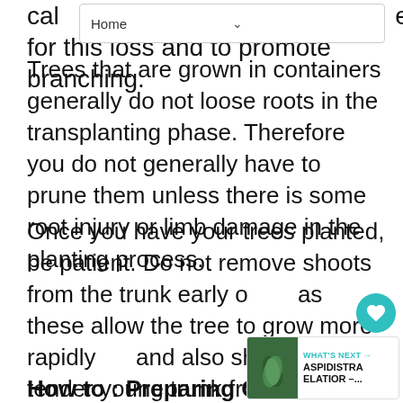Home
cal… e for this loss and to promote branching.
Trees that are grown in containers generally do not loose roots in the transplanting phase. Therefore you do not generally have to prune them unless there is some root injury or limb damage in the planting process.
Once you have your trees planted, be patient. Do not remove shoots from the trunk early on as these allow the tree to grow more rapidly and also shade the tender young trunk from sun-scald. Wait a few years to begin training the tree to its ultimate form.
How to : Preparing Containers